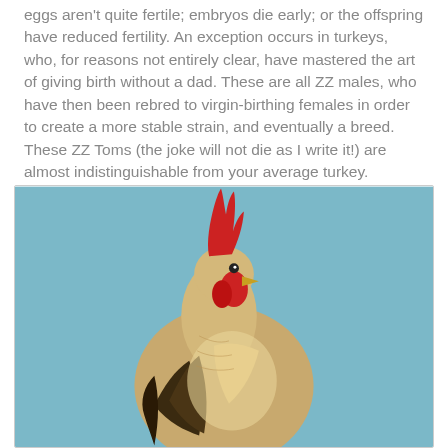eggs aren't quite fertile; embryos die early; or the offspring have reduced fertility. An exception occurs in turkeys, who, for reasons not entirely clear, have mastered the art of giving birth without a dad. These are all ZZ males, who have then been rebred to virgin-birthing females in order to create a more stable strain, and eventually a breed. These ZZ Toms (the joke will not die as I write it!) are almost indistinguishable from your average turkey.
[Figure (photo): A photograph of a rooster/cockerel shown from the side, looking upward, with a prominent red comb and wattle, golden-brown and white feathers, against a light blue background.]